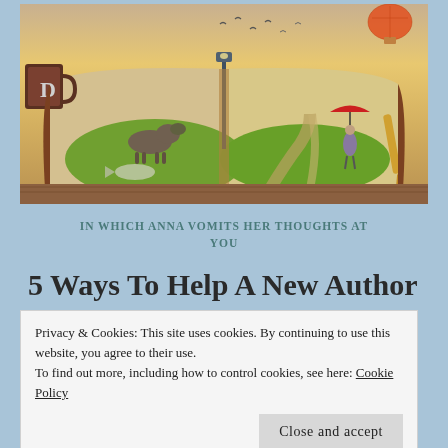[Figure (illustration): Surreal illustration of an open book with a grassy landscape scene inside it — a dog walking on the left page, a path leading to a girl with a red umbrella on the right page, a street lamp in the center, birds flying, a hot air balloon, a coffee mug on the left, and a fountain pen on the right, all on a wooden table.]
IN WHICH ANNA VOMITS HER THOUGHTS AT YOU
5 Ways To Help A New Author
Privacy & Cookies: This site uses cookies. By continuing to use this website, you agree to their use.
To find out more, including how to control cookies, see here: Cookie Policy
Close and accept